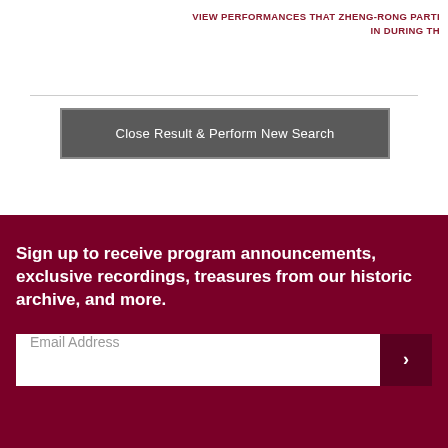VIEW PERFORMANCES THAT ZHENG-RONG PARTI IN DURING TH
Close Result & Perform New Search
Sign up to receive program announcements, exclusive recordings, treasures from our historic archive, and more.
Email Address